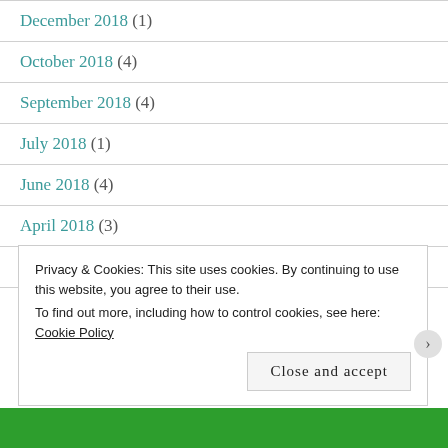December 2018 (1)
October 2018 (4)
September 2018 (4)
July 2018 (1)
June 2018 (4)
April 2018 (3)
February 2018 (4)
Privacy & Cookies: This site uses cookies. By continuing to use this website, you agree to their use. To find out more, including how to control cookies, see here: Cookie Policy
Close and accept